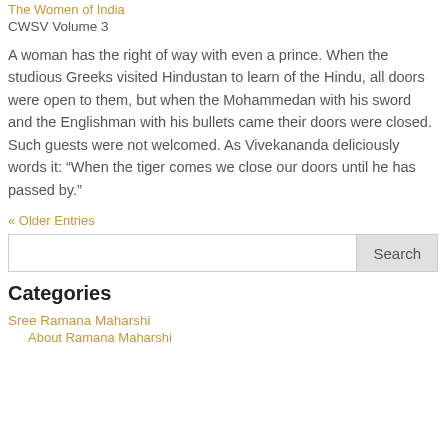The Women of India
CWSV Volume 3
A woman has the right of way with even a prince. When the studious Greeks visited Hindustan to learn of the Hindu, all doors were open to them, but when the Mohammedan with his sword and the Englishman with his bullets came their doors were closed. Such guests were not welcomed. As Vivekananda deliciously words it: “When the tiger comes we close our doors until he has passed by.”
« Older Entries
Search
Categories
Sree Ramana Maharshi
About Ramana Maharshi